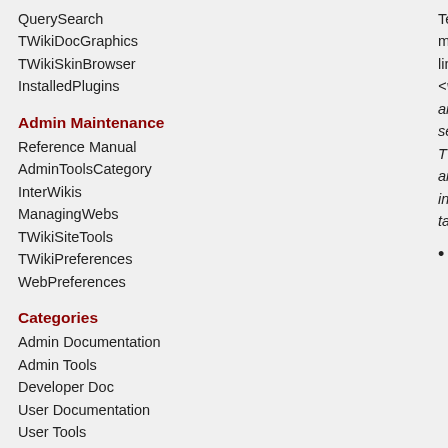QuerySearch
TWikiDocGraphics
TWikiSkinBrowser
InstalledPlugins
Admin Maintenance
Reference Manual
AdminToolsCategory
InterWikis
ManagingWebs
TWikiSiteTools
TWikiPreferences
WebPreferences
Categories
Admin Documentation
Admin Tools
Developer Doc
User Documentation
User Tools
Webs
Lean
Main
Sandbox
Text is shown in monospace with line breaks. Wraps <verbatim> tags around the selected text. No TWiki Variables are interpreted inside verbatim tags
LITERAL - Styled content is saved